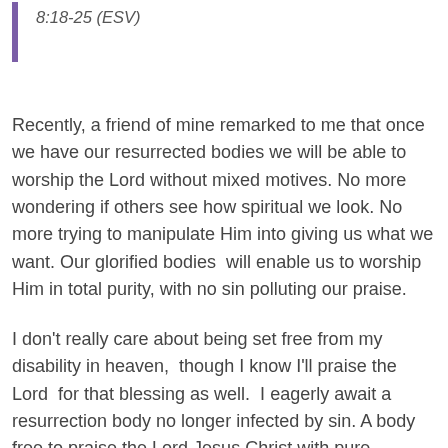8:18-25 (ESV)
Recently, a friend of mine remarked to me that once we have our resurrected bodies we will be able to worship the Lord without mixed motives. No more wondering if others see how spiritual we look. No more trying to manipulate Him into giving us what we want. Our glorified bodies  will enable us to worship Him in total purity, with no sin polluting our praise.
I don't really care about being set free from my disability in heaven,  though I know I'll praise the Lord  for that blessing as well.  I eagerly await a resurrection body no longer infected by sin. A body free to praise the Lord Jesus Christ with pure motives. A body that can stand before His glory